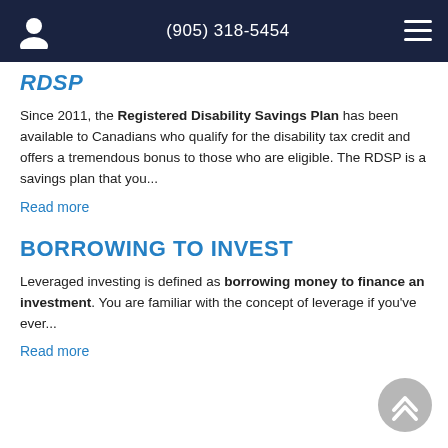(905) 318-5454
RDSP
Since 2011, the Registered Disability Savings Plan has been available to Canadians who qualify for the disability tax credit and offers a tremendous bonus to those who are eligible. The RDSP is a savings plan that you...
Read more
BORROWING TO INVEST
Leveraged investing is defined as borrowing money to finance an investment. You are familiar with the concept of leverage if you've ever...
Read more